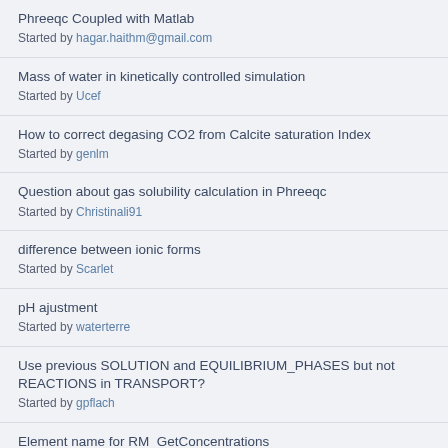Phreeqc Coupled with Matlab
Started by hagar.haithm@gmail.com
Mass of water in kinetically controlled simulation
Started by Ucef
How to correct degasing CO2 from Calcite saturation Index
Started by genlm
Question about gas solubility calculation in Phreeqc
Started by Christinali91
difference between ionic forms
Started by Scarlet
pH ajustment
Started by waterterre
Use previous SOLUTION and EQUILIBRIUM_PHASES but not REACTIONS in TRANSPORT?
Started by gpflach
Element name for RM_GetConcentrations
Started by Yongqiang